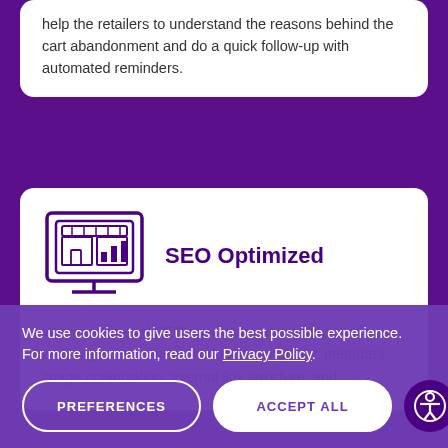help the retailers to understand the reasons behind the cart abandonment and do a quick follow-up with automated reminders.
SEO Optimized
[Figure (illustration): Purple outline icon of a computer monitor displaying a storefront/shop with bar charts]
We have shrewd SEO specialists who optimize all your web pages headlines, product descriptions, metadata, image optimization, internal link structure, and
We use cookies to give users the best possible experience. For more information, read our Privacy Policy.
PREFERENCES
ACCEPT ALL